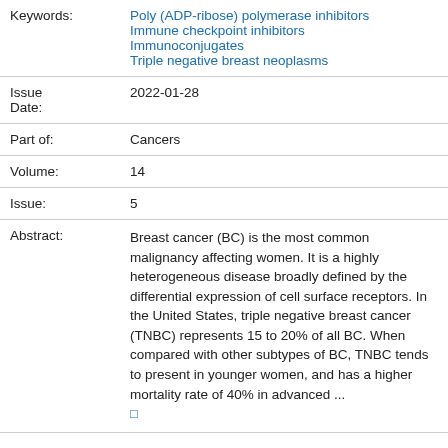| Field | Value |
| --- | --- |
| Keywords: | Poly (ADP-ribose) polymerase inhibitors
Immune checkpoint inhibitors
Immunoconjugates
Triple negative breast neoplasms |
| Issue Date: | 2022-01-28 |
| Part of: | Cancers |
| Volume: | 14 |
| Issue: | 5 |
| Abstract: | Breast cancer (BC) is the most common malignancy affecting women. It is a highly heterogeneous disease broadly defined by the differential expression of cell surface receptors. In the United States, triple negative breast cancer (TNBC) represents 15 to 20% of all BC. When compared with other subtypes of BC, TNBC tends to present in younger women, and has a higher mortality rate of 40% in advanced ... |